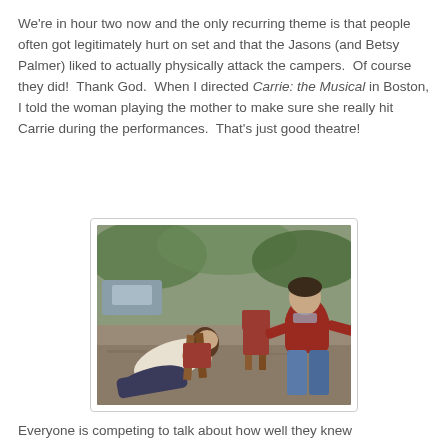We're in hour two now and the only recurring theme is that people often got legitimately hurt on set and that the Jasons (and Betsy Palmer) liked to actually physically attack the campers.  Of course they did!  Thank God.  When I directed Carrie: the Musical in Boston, I told the woman playing the mother to make sure she really hit Carrie during the performances.  That's just good theatre!
[Figure (photo): A behind-the-scenes photo showing two people on what appears to be a film set outdoors. One person is reclining on a chair/equipment on the left, wearing light clothing. Another person in a red sweater and jeans is visible on the right side. There are folding chairs visible and a wooded background.]
Everyone is competing to talk about how well they knew